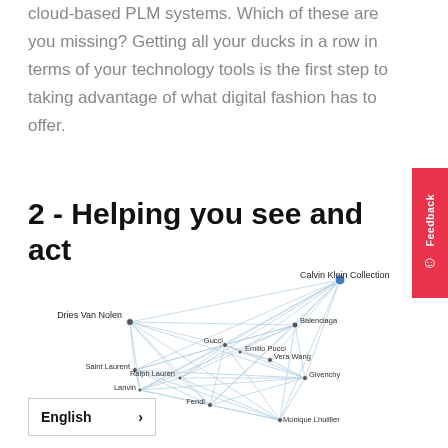cloud-based PLM systems. Which of these are you missing? Getting all your ducks in a row in terms of your technology tools is the first step to taking advantage of what digital fashion has to offer.
2 - Helping you see and act
[Figure (network-graph): A network graph showing fashion brand connections. Notable nodes include: Dries Van Nolen, Calvin Klein Collection, Balenciaga, Gucci, Emilio Pucci, Vera Wang, Saint Laurent, Ralph Lauren, Givenchy, Lanvin, Fendi, Monique Lhuillier. Nodes are connected by blue lines forming a complex web.]
English >